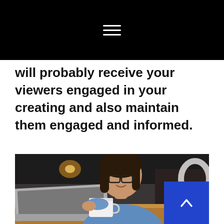will probably receive your viewers engaged in your creating and also maintain them engaged and informed.
[Figure (photo): Young woman with glasses smiling, holding a coffee cup and working on a laptop at a café table]
^